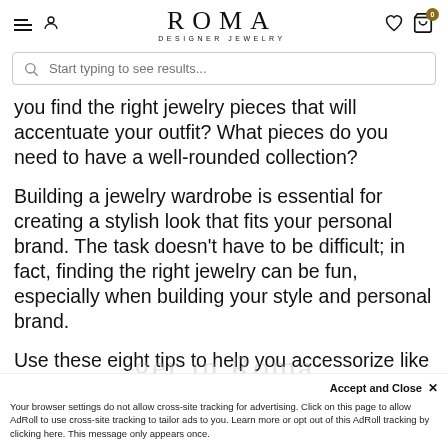[Figure (screenshot): Roma Designer Jewelry website header with hamburger menu, person icon, Roma Designer Jewelry logo, heart icon, and shopping cart with badge showing 0]
[Figure (screenshot): Search bar with magnifying glass icon and placeholder text 'Start typing to see results...']
you find the right jewelry pieces that will accentuate your outfit? What pieces do you need to have a well-rounded collection?
Building a jewelry wardrobe is essential for creating a stylish look that fits your personal brand. The task doesn't have to be difficult; in fact, finding the right jewelry can be fun, especially when building your style and personal brand.
Use these eight tips to help you accessorize like the best style icons.
Accept and Close ✕
Your browser settings do not allow cross-site tracking for advertising. Click on this page to allow AdRoll to use cross-site tracking to tailor ads to you. Learn more or opt out of this AdRoll tracking by clicking here. This message only appears once.